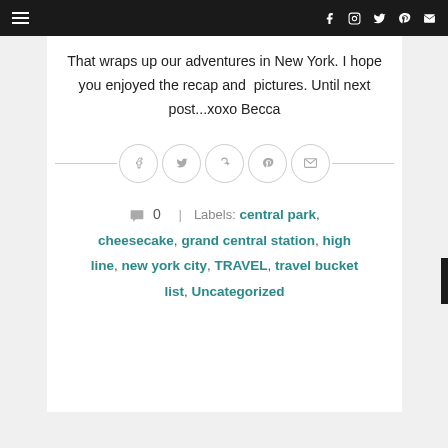Navigation bar with hamburger menu and social icons (Facebook, Instagram, Twitter, Pinterest, Email)
That wraps up our adventures in New York. I hope you enjoyed the recap and pictures. Until next post...xoxo Becca
[Figure (other): Social share buttons row: Facebook, Twitter, Google+, Pinterest, Email circles with horizontal lines on either side]
0 | Labels: central park, cheesecake, grand central station, high line, new york city, TRAVEL, travel bucket list, Uncategorized